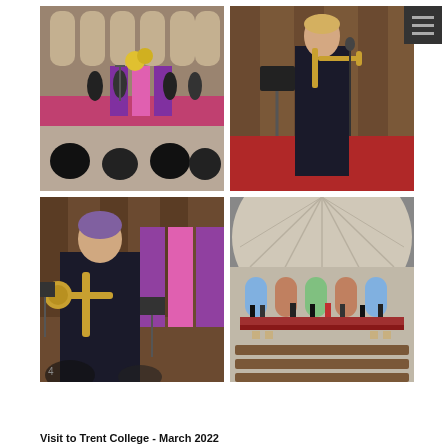[Figure (photo): Four photos arranged in a 2x2 grid showing a concert/performance visit to Trent College chapel in March 2022. Top-left: brass ensemble performing in a church with audience seated, purple decorations on altar. Top-right: close-up of a woman playing trombone on stage with red carpet, music stand nearby. Bottom-left: close-up of a different woman playing trombone in front of purple church decorations. Bottom-right: wide-angle view of the chapel interior dome showing musicians performing in the apse with pews in foreground.]
Visit to Trent College - March 2022